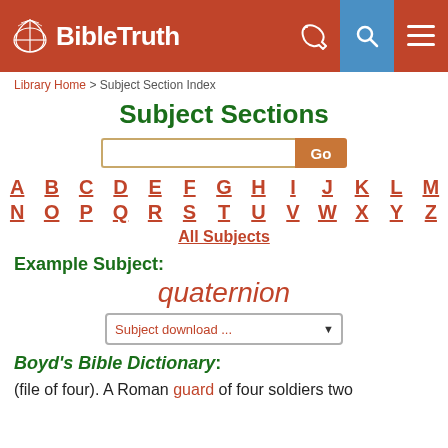BibleTruth
Library Home > Subject Section Index
Subject Sections
A B C D E F G H I J K L M N O P Q R S T U V W X Y Z
All Subjects
Example Subject:
quaternion
Subject download ...
Boyd's Bible Dictionary:
(file of four). A Roman guard of four soldiers two